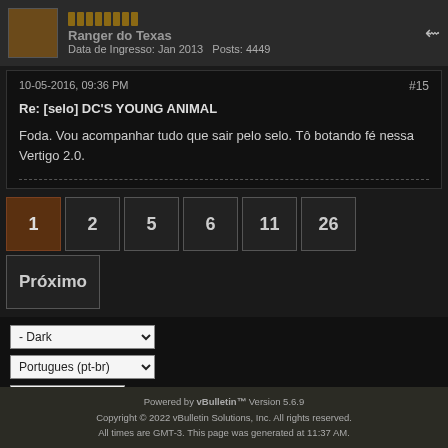Ranger do Texas
Data de Ingresso: Jan 2013  Posts: 4449
10-05-2016, 09:36 PM  #15
Re: [selo] DC'S YOUNG ANIMAL
Foda. Vou acompanhar tudo que sair pelo selo. Tô botando fé nessa Vertigo 2.0.
1  2  5  6  11  26  Próximo
- Dark
Portugues (pt-br)
Go to...
Powered by vBulletin™ Version 5.6.9
Copyright © 2022 vBulletin Solutions, Inc. All rights reserved.
All times are GMT-3. This page was generated at 11:37 AM.